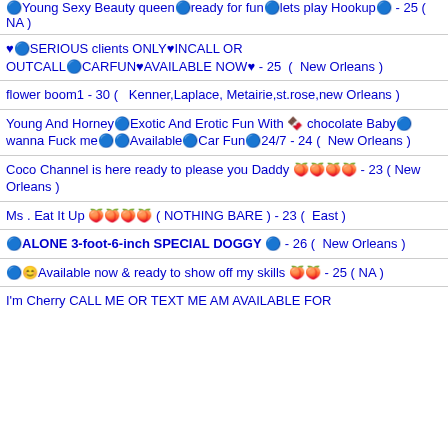🔵Young Sexy Beauty queen🔵ready for fun🔵lets play Hookup🔵 - 25 ( NA )
♥🔵SERIOUS clients ONLY♥INCALL OR OUTCALL🔵CARFUN♥AVAILABLE NOW♥ - 25 ( New Orleans )
flower boom1 - 30 ( Kenner,Laplace, Metairie,st.rose,new Orleans )
Young And Horney🔵Exotic And Erotic Fun With 🍫 chocolate Baby🔵 wanna Fuck me🔵🔵Available🔵Car Fun🔵24/7 - 24 ( New Orleans )
Coco Channel is here ready to please you Daddy 🍑🍑🍑🍑 - 23 ( New Orleans )
Ms . Eat It Up 🍑🍑🍑🍑 ( NOTHING BARE ) - 23 ( East )
🔵ALONE 3-foot-6-inch SPECIAL DOGGY 🔵 - 26 ( New Orleans )
🔵😊Available now & ready to show off my skills 🍑🍑 - 25 ( NA )
I'm Cherry CALL ME OR TEXT ME AM AVAILABLE FOR